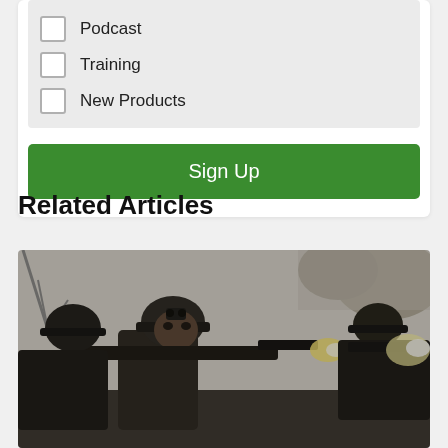Podcast
Training
New Products
Sign Up
Related Articles
[Figure (photo): Soldiers in combat gear aiming rifles, black and white toned military photograph]